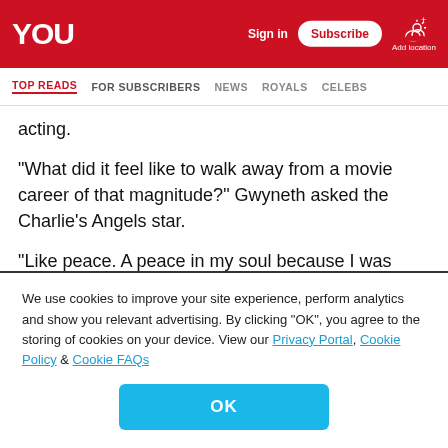YOU — Sign in | Subscribe | Add location
TOP READS | FOR SUBSCRIBERS | NEWS | ROYALS | CELEBS
acting.
“What did it feel like to walk away from a movie career of that magnitude?” Gwyneth asked the Charlie’s Angels star.
“Like peace. A peace in my soul because I was finally taking care of myself,” Cameron responded.
We use cookies to improve your site experience, perform analytics and show you relevant advertising. By clicking “OK”, you agree to the storing of cookies on your device. View our Privacy Portal, Cookie Policy & Cookie FAQs